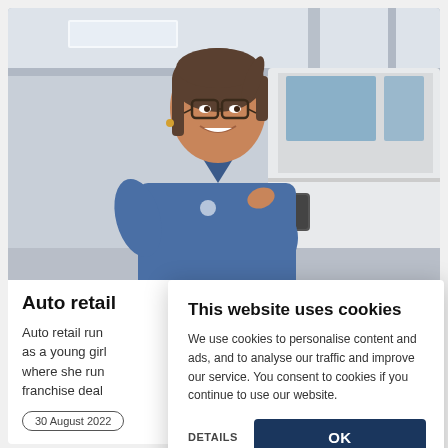[Figure (photo): A woman in a blue work shirt with glasses, smiling, standing next to a white vehicle in what appears to be a car dealership showroom.]
Auto retail
Auto retail run as a young girl where she run franchise deal
30 August 2022
This website uses cookies
We use cookies to personalise content and ads, and to analyse our traffic and improve our service. You consent to cookies if you continue to use our website.
DETAILS
OK